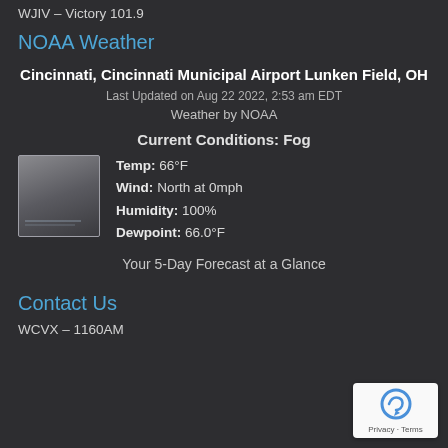WJIV – Victory 101.9
NOAA Weather
Cincinnati, Cincinnati Municipal Airport Lunken Field, OH
Last Updated on Aug 22 2022, 2:53 am EDT
Weather by NOAA
Current Conditions: Fog
[Figure (illustration): Weather icon showing fog/grey sky]
Temp: 66°F
Wind: North at 0mph
Humidity: 100%
Dewpoint: 66.0°F
Your 5-Day Forecast at a Glance
Contact Us
WCVX – 1160AM
[Figure (illustration): reCAPTCHA widget with Privacy and Terms links]